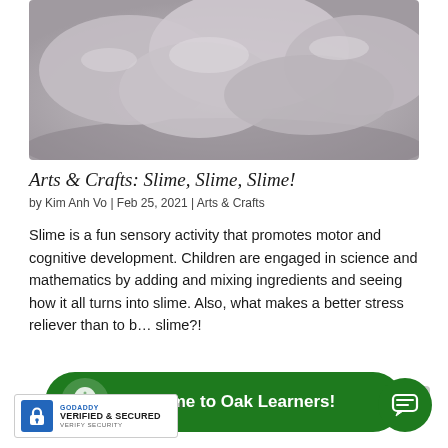[Figure (photo): Close-up photo of grey/purple slime in a bowl]
Arts & Crafts: Slime, Slime, Slime!
by Kim Anh Vo | Feb 25, 2021 | Arts & Crafts
Slime is a fun sensory activity that promotes motor and cognitive development. Children are engaged in science and mathematics by adding and mixing ingredients and seeing how it all turns into slime. Also, what makes a better stress reliever than to b... slime?!
[Figure (logo): Welcome to Oak Learners! banner with tree icon on dark green rounded rectangle]
[Figure (logo): GoDaddy Verified & Secured badge]